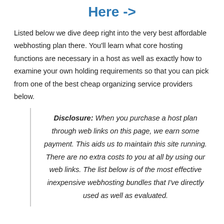Here ->
Listed below we dive deep right into the very best affordable webhosting plan there. You'll learn what core hosting functions are necessary in a host as well as exactly how to examine your own holding requirements so that you can pick from one of the best cheap organizing service providers below.
Disclosure: When you purchase a host plan through web links on this page, we earn some payment. This aids us to maintain this site running. There are no extra costs to you at all by using our web links. The list below is of the most effective inexpensive webhosting bundles that I've directly used as well as evaluated.